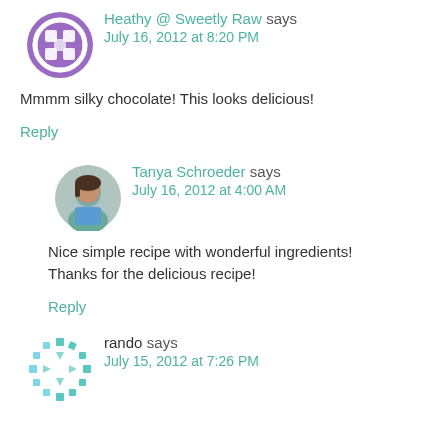Heathy @ Sweetly Raw says
July 16, 2012 at 8:20 PM
Mmmm silky chocolate! This looks delicious!
Reply
Tanya Schroeder says
July 16, 2012 at 4:00 AM
Nice simple recipe with wonderful ingredients! Thanks for the delicious recipe!
Reply
rando says
July 15, 2012 at 7:26 PM